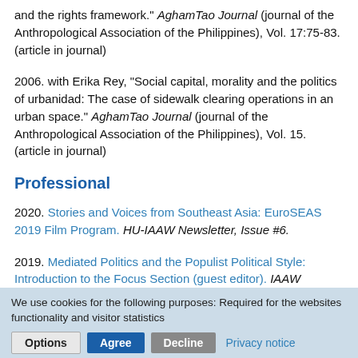and the rights framework." AghamTao Journal (journal of the Anthropological Association of the Philippines), Vol. 17:75-83. (article in journal)
2006. with Erika Rey, "Social capital, morality and the politics of urbanidad: The case of sidewalk clearing operations in an urban space." AghamTao Journal (journal of the Anthropological Association of the Philippines), Vol. 15. (article in journal)
Professional
2020. Stories and Voices from Southeast Asia: EuroSEAS 2019 Film Program. HU-IAAW Newsletter, Issue #6.
2019. Mediated Politics and the Populist Political Style: Introduction to the Focus Section (guest editor). IAAW Newsletter, Issue #5.
We use cookies for the following purposes: Required for the websites functionality and visitor statistics